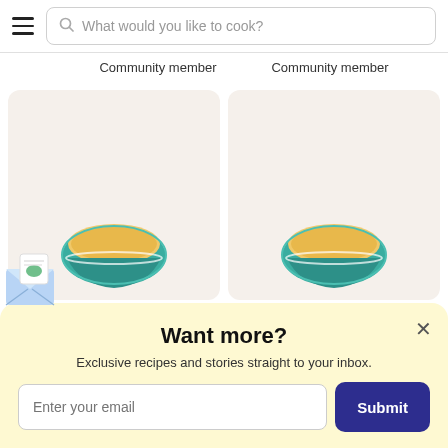What would you like to cook?
Community member
Community member
[Figure (illustration): Teal bowl with golden soup or porridge, on a beige card background]
[Figure (illustration): Teal bowl with golden soup or porridge, on a beige card background]
Want more?
Exclusive recipes and stories straight to your inbox.
[Figure (illustration): Envelope with food recipe card illustration, on the left edge of the popup]